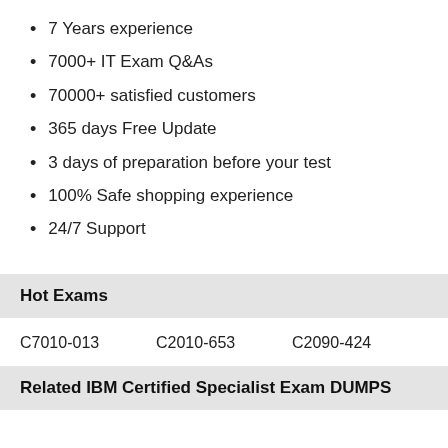7 Years experience
7000+ IT Exam Q&As
70000+ satisfied customers
365 days Free Update
3 days of preparation before your test
100% Safe shopping experience
24/7 Support
Hot Exams
C7010-013    C2010-653    C2090-424
Related IBM Certified Specialist Exam DUMPS